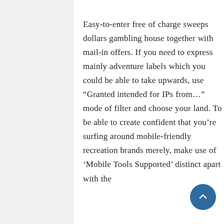Easy-to-enter free of charge sweeps dollars gambling house together with mail-in offers. If you need to express mainly adventure labels which you could be able to take upwards, use “Granted intended for IPs from…” mode of filter and choose your land. To be able to create confident that you’re surfing around mobile-friendly recreation brands merely, make use of ‘Mobile Tools Supported’ distinct apart with the